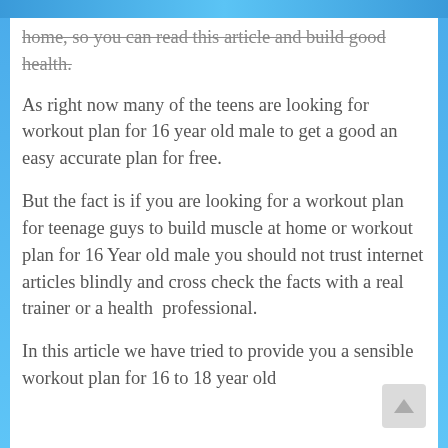home, so you can read this article and build good health.
As right now many of the teens are looking for workout plan for 16 year old male to get a good an easy accurate plan for free.
But the fact is if you are looking for a workout plan for teenage guys to build muscle at home or workout plan for 16 Year old male you should not trust internet articles blindly and cross check the facts with a real trainer or a health  professional.
In this article we have tried to provide you a sensible workout plan for 16 to 18 year old